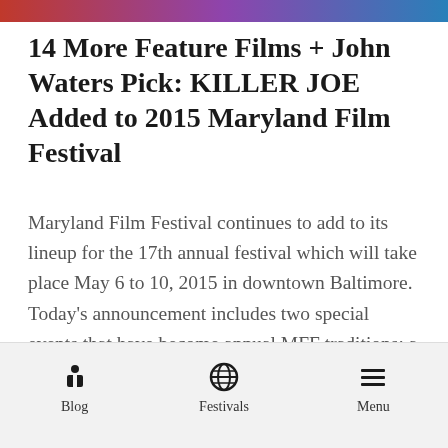[Figure (photo): Decorative image strip at the top of the page]
14 More Feature Films + John Waters Pick: KILLER JOE Added to 2015 Maryland Film Festival
Maryland Film Festival continues to add to its lineup for the 17th annual festival which will take place May 6 to 10, 2015 in downtown Baltimore. Today’s announcement includes two special events that have become annual MFF traditions: a film selected and hosted by legendary filmmaker and MFF board member John Waters, and a silent film presented with a live original score by Alloy Orchestra. Waters has
Blog   Festivals   Menu